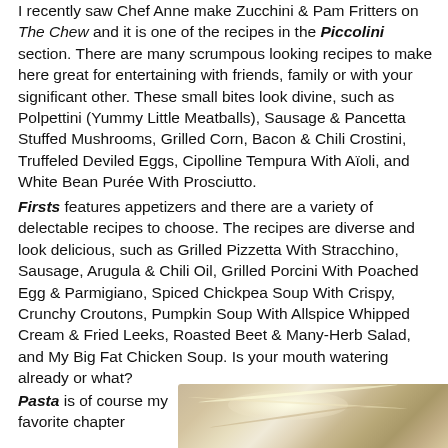I recently saw Chef Anne make Zucchini & Pam Fritters on The Chew and it is one of the recipes in the Piccolini section. There are many scrumpous looking recipes to make here great for entertaining with friends, family or with your significant other. These small bites look divine, such as Polpettini (Yummy Little Meatballs), Sausage & Pancetta Stuffed Mushrooms, Grilled Corn, Bacon & Chili Crostini, Truffeled Deviled Eggs, Cipolline Tempura With Aïoli, and White Bean Purée With Prosciutto.
Firsts features appetizers and there are a variety of delectable recipes to choose. The recipes are diverse and look delicious, such as Grilled Pizzetta With Stracchino, Sausage, Arugula & Chili Oil, Grilled Porcini With Poached Egg & Parmigiano, Spiced Chickpea Soup With Crispy, Crunchy Croutons, Pumpkin Soup With Allspice Whipped Cream & Fried Leeks, Roasted Beet & Many-Herb Salad, and My Big Fat Chicken Soup. Is your mouth watering already or what?
Pasta is of course my favorite chapter
[Figure (photo): Close-up photo of what appears to be pasta or noodles with a blonde/golden color]